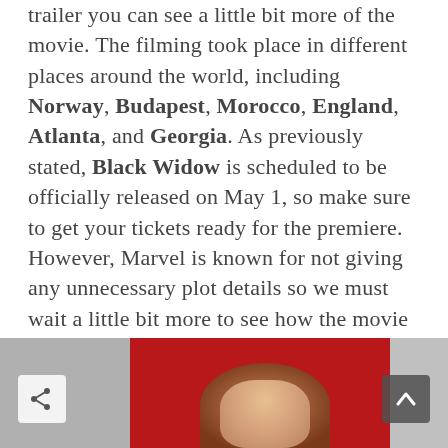trailer you can see a little bit more of the movie. The filming took place in different places around the world, including Norway, Budapest, Morocco, England, Atlanta, and Georgia. As previously stated, Black Widow is scheduled to be officially released on May 1, so make sure to get your tickets ready for the premiere. However, Marvel is known for not giving any unnecessary plot details so we must wait a little bit more to see how the movie will actually look like. Until then, you can install our new app and enjoy awesome Black Widow Wallpapers that we have prepared for all of the fans.
[Figure (photo): Partial view of Black Widow movie image showing a character with red hair against a red background, with share and scroll-up buttons overlaid]